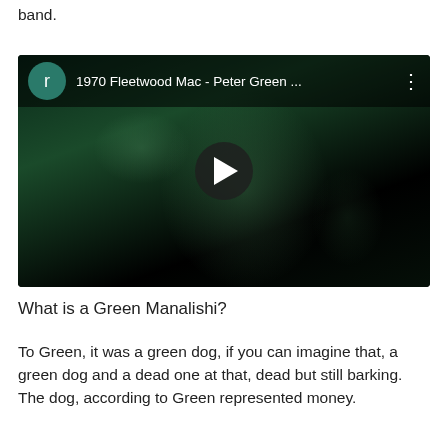This was one of Peter Green's final contributions to the band.
[Figure (screenshot): YouTube video thumbnail showing '1970 Fleetwood Mac - Peter Green ...' with a dark green-tinted close-up face image and a play button in the center. A teal avatar with letter 'r' is shown in the top-left corner of the video player.]
What is a Green Manalishi?
To Green, it was a green dog, if you can imagine that, a green dog and a dead one at that, dead but still barking. The dog, according to Green represented money.